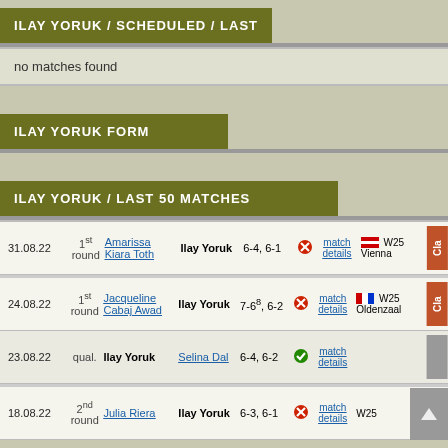ILAY YORUK / SCHEDULED / LAST
no matches found
ILAY YORUK FORM
ILAY YORUK / LAST 50 MATCHES
| Date | Round | Player 1 | Player 2 | Score | Result | Details | Tournament | Cat |
| --- | --- | --- | --- | --- | --- | --- | --- | --- |
| 31.08.22 | 1st round | Amarissa Kiara Toth | Ilay Yoruk | 6-4, 6-1 | loss | match details | W25 Vienna | Cla |
| 24.08.22 | 1st round | Jacqueline Cabaj Awad | Ilay Yoruk | 7-6^8, 6-2 | loss | match details | W25 Oldenzaal | Cla |
| 23.08.22 | qual. | Ilay Yoruk | Selina Dal | 6-4, 6-2 | win | match details | W25 Oldenzaal |  |
| 18.08.22 | 2nd round | Julia Riera | Ilay Yoruk | 6-3, 6-1 | loss | match details | W25 |  |